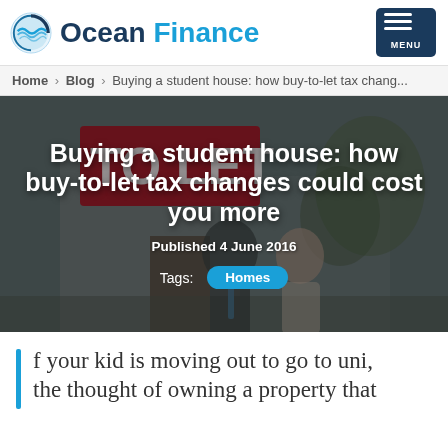Ocean Finance
Home > Blog > Buying a student house: how buy-to-let tax chang...
[Figure (photo): Hero image showing two people (a man and a woman) in front of a To Let sign outside a property. Overlaid with article title 'Buying a student house: how buy-to-let tax changes could cost you more', published date '4 June 2016', and a 'Homes' tag.]
Buying a student house: how buy-to-let tax changes could cost you more
Published 4 June 2016
Tags: Homes
f your kid is moving out to go to uni, the thought of owning a property that